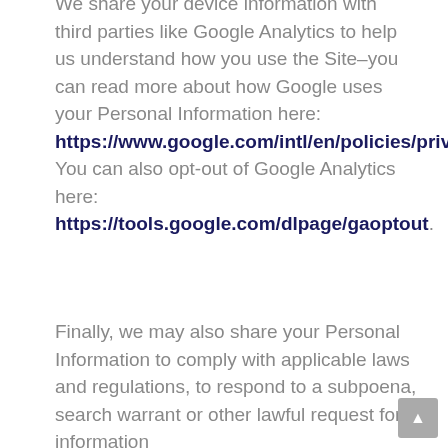We share your device information with third parties like Google Analytics to help us understand how you use the Site–you can read more about how Google uses your Personal Information here: https://www.google.com/intl/en/policies/privacy/. You can also opt-out of Google Analytics here: https://tools.google.com/dlpage/gaoptout.
Finally, we may also share your Personal Information to comply with applicable laws and regulations, to respond to a subpoena, search warrant or other lawful request for information we receive, or to otherwise protect our rights.